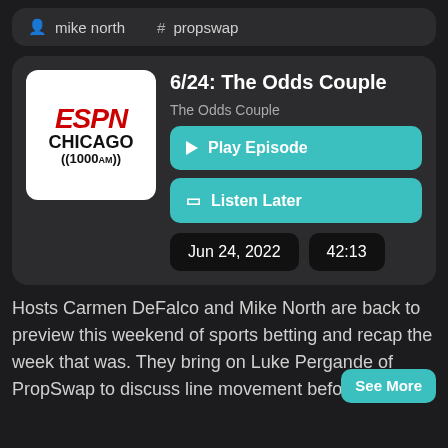mike north
# propswap
6/24: The Odds Couple
The Odds Couple
Play Episode
Listen Later
Jun 24, 2022
42:13
Hosts Carmen DeFalco and Mike North are back to preview this weekend of sports betting and recap the week that was. They bring on Luke Pergande of PropSwap to discuss line movement before, during
See More